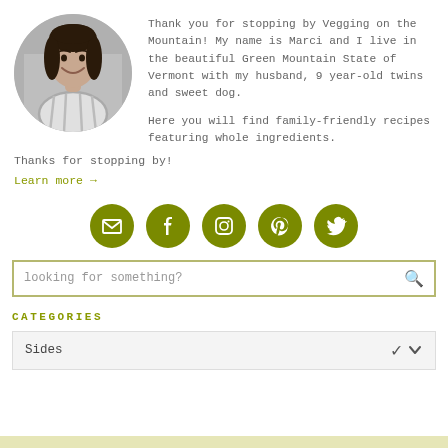[Figure (photo): Circular black-and-white portrait photo of a smiling woman with dark hair]
Thank you for stopping by Vegging on the Mountain! My name is Marci and I live in the beautiful Green Mountain State of Vermont with my husband, 9 year-old twins and sweet dog.

Here you will find family-friendly recipes featuring whole ingredients.
Thanks for stopping by!
Learn more →
[Figure (infographic): Five olive-green circular social media icon buttons: email/envelope, Facebook, Instagram, Pinterest, Twitter]
looking for something?
CATEGORIES
Sides